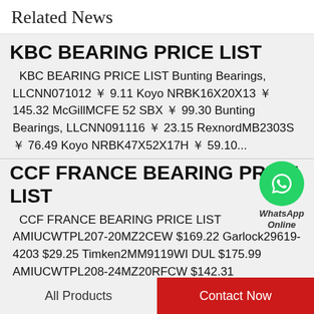Related News
KBC BEARING PRICE LIST
KBC BEARING PRICE LIST Bunting Bearings, LLCNN071012 ￥ 9.11 Koyo NRBK16X20X13 ￥ 145.32 McGillMCFE 52 SBX ￥ 99.30 Bunting Bearings, LLCNN091116 ￥ 23.15 RexnordMB2303S ￥ 76.49 Koyo NRBK47X52X17H ￥ 59.10...
[Figure (logo): WhatsApp Online badge - green circle with phone icon and text 'WhatsApp Online']
CCF FRANCE BEARING PRICE LIST
CCF FRANCE BEARING PRICE LIST AMIUCWTPL207-20MZ2CEW $169.22 Garlock29619-4203 $29.25 Timken2MM9119WI DUL $175.99 AMIUCWTPL208-24MZ20RFCW $142.31 Garlock29507-2228 $149.43 Timken2MM9120WI
All Products   Contact Now